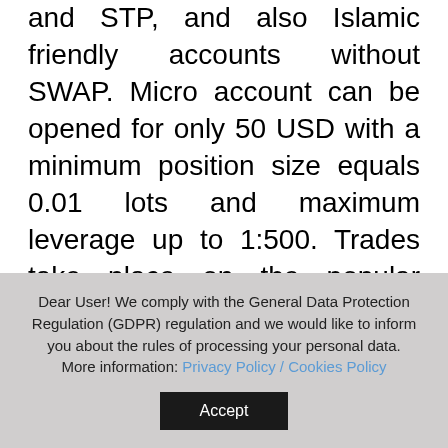and STP, and also Islamic friendly accounts without SWAP. Micro account can be opened for only 50 USD with a minimum position size equals 0.01 lots and maximum leverage up to 1:500. Trades take place on the popular MetaTrader4 platform. AccentForex offers trading on Forex currencies and on metals, fuels, commodities, stocks and indices. Broker
Dear User! We comply with the General Data Protection Regulation (GDPR) regulation and we would like to inform you about the rules of processing your personal data. More information: Privacy Policy / Cookies Policy